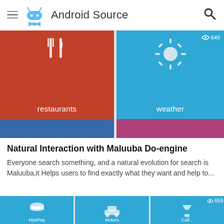Android Source
[Figure (screenshot): App screenshot showing tiles for 'restaurants' (red/orange tile with fork icon) and 'weather' (blue tile with sun icon), with two colored bars below]
Natural Interaction with Maluuba Do-engine
Everyone search something, and a natural evolution for search is Maluuba,it Helps users to find exactly what they want and help to...
[Figure (screenshot): Bottom partial screenshot showing blue tiles with app icons (MyePay, Motors, Call...)]